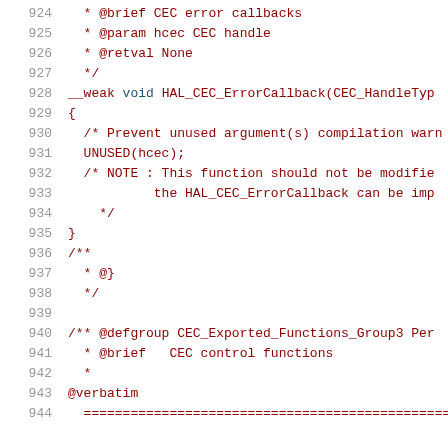924-944: Source code listing showing HAL_CEC_ErrorCallback function definition and documentation comments in C, including @brief, @param, @retval doxygen tags, UNUSED macro, and a new doxygen group CEC_Exported_Functions_Group3.